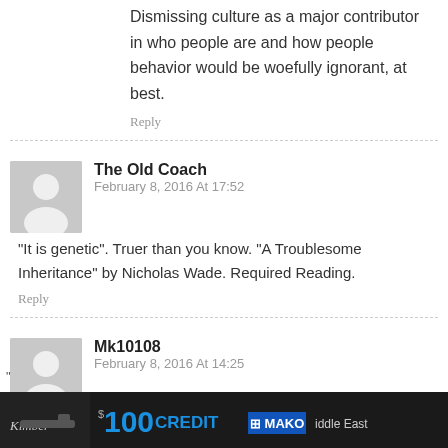Dismissing culture as a major contributor in who people are and how people behavior would be woefully ignorant, at best.
Reply
The Old Coach
February 8, 2016 At 17:52
“It is genetic”. Truer than you know. “A Troublesome Inheritance” by Nicholas Wade. Required Reading.
Reply
Mk10108
February 8, 2016 At 14:25
There’s an element of truth violence is
[Figure (screenshot): Advertisement banner at bottom: dark background with gun image, '$100 CREDIT' in blue text, MAKO branding. Partially visible text about Middle East.]